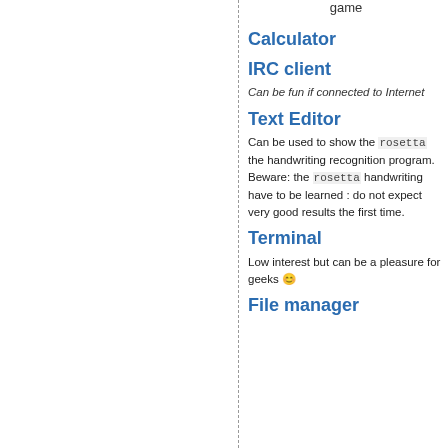game
Calculator
IRC client
Can be fun if connected to Internet
Text Editor
Can be used to show the rosetta the handwriting recognition program. Beware: the rosetta handwriting have to be learned : do not expect very good results the first time.
Terminal
Low interest but can be a pleasure for geeks 😊
File manager